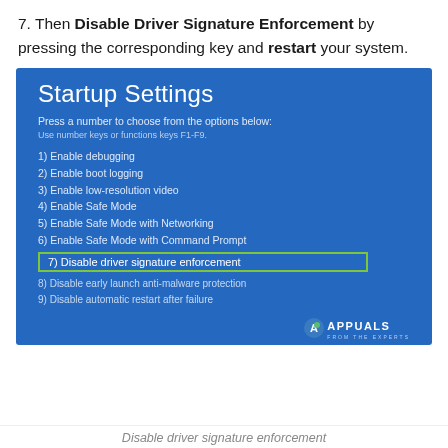7. Then Disable Driver Signature Enforcement by pressing the corresponding key and restart your system.
[Figure (screenshot): Windows Startup Settings screen showing options 1-9, with option 7 'Disable driver signature enforcement' highlighted by a green rectangle border. The screen has a blue background typical of Windows boot options. Appuals.com logo appears in the bottom-right corner.]
Disable driver signature enforcement